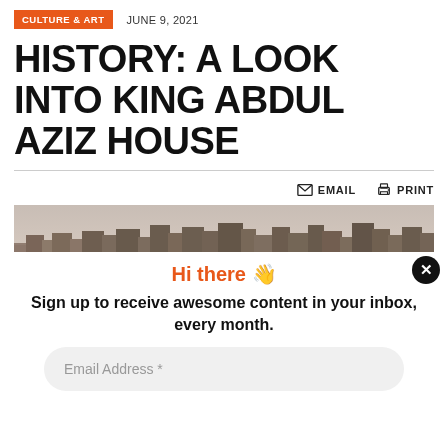CULTURE & ART  JUNE 9, 2021
HISTORY: A LOOK INTO KING ABDUL AZIZ HOUSE
EMAIL  PRINT
[Figure (photo): Aerial/panoramic cityscape view showing dense urban buildings with trees and green areas in the background, muted tones.]
Hi there 👋
Sign up to receive awesome content in your inbox, every month.
Email Address *